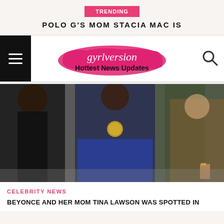TRENDING
POLO G'S MOM STACIA MAC IS
[Figure (logo): gyrlversion Hottest News Updates logo with pink brush stroke background]
[Figure (photo): Three people photographed outdoors, center person wearing dark blue clothing, left person in black, right person visible on edge]
CELEBRITY NEWS
BEYONCE AND HER MOM TINA LAWSON WAS SPOTTED IN